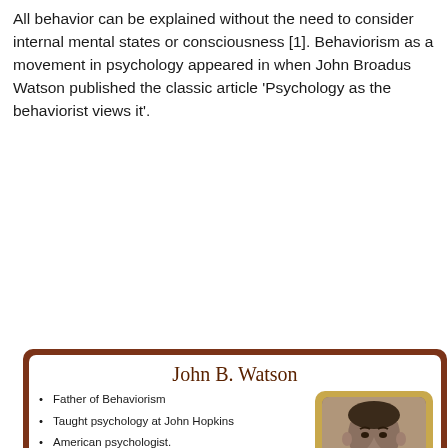All behavior can be explained without the need to consider internal mental states or consciousness [1]. Behaviorism as a movement in psychology appeared in when John Broadus Watson published the classic article 'Psychology as the behaviorist views it'.
[Figure (infographic): Infographic card about John B. Watson with his portrait photo and bullet points listing his contributions to behaviorism.]
John B. Watson
Father of Behaviorism
Taught psychology at John Hopkins
American psychologist.
University in 1908
Claimed external forces, not internal forces shape peoples' preferences and behaviors.
Thought regardless of who we think we are, we can be molded or conditioned by external stimuli, belief in individual choice is an illusion.